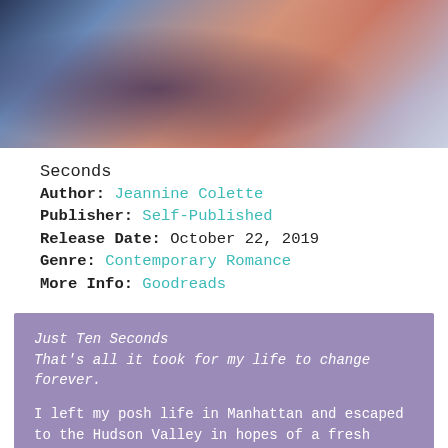[Figure (photo): Partial photo of a book or scene, showing blurred colors of dark blue, salmon/terracotta, and light lavender tones — appears to be part of a book cover image cropped at the top of the page.]
Seconds
Author: Jeannine Colette
Publisher: Self-Published
Release Date: October 22, 2019
Genre: Contemporary Romance
More Info: Goodreads
Just Ten Seconds
That's all it took for my life to change forever.

I left my posh life in Manhattan and escaped to the Hudson Valley in hopes of a fresh start. It wasn't until I happened upon a bereavement group when I finally found a place I felt understood. I told them my husband